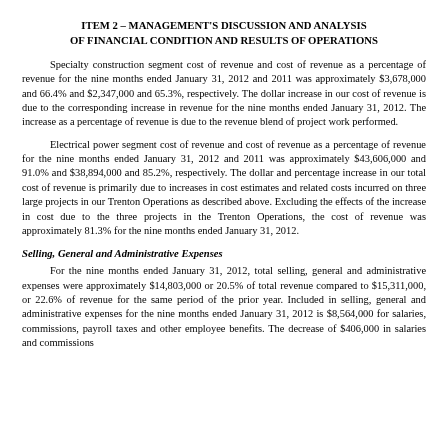ITEM 2 – MANAGEMENT'S DISCUSSION AND ANALYSIS OF FINANCIAL CONDITION AND RESULTS OF OPERATIONS
Specialty construction segment cost of revenue and cost of revenue as a percentage of revenue for the nine months ended January 31, 2012 and 2011 was approximately $3,678,000 and 66.4% and $2,347,000 and 65.3%, respectively. The dollar increase in our cost of revenue is due to the corresponding increase in revenue for the nine months ended January 31, 2012. The increase as a percentage of revenue is due to the revenue blend of project work performed.
Electrical power segment cost of revenue and cost of revenue as a percentage of revenue for the nine months ended January 31, 2012 and 2011 was approximately $43,606,000 and 91.0% and $38,894,000 and 85.2%, respectively. The dollar and percentage increase in our total cost of revenue is primarily due to increases in cost estimates and related costs incurred on three large projects in our Trenton Operations as described above. Excluding the effects of the increase in cost due to the three projects in the Trenton Operations, the cost of revenue was approximately 81.3% for the nine months ended January 31, 2012.
Selling, General and Administrative Expenses
For the nine months ended January 31, 2012, total selling, general and administrative expenses were approximately $14,803,000 or 20.5% of total revenue compared to $15,311,000, or 22.6% of revenue for the same period of the prior year. Included in selling, general and administrative expenses for the nine months ended January 31, 2012 is $8,564,000 for salaries, commissions, payroll taxes and other employee benefits. The decrease of $406,000 in salaries and commissions